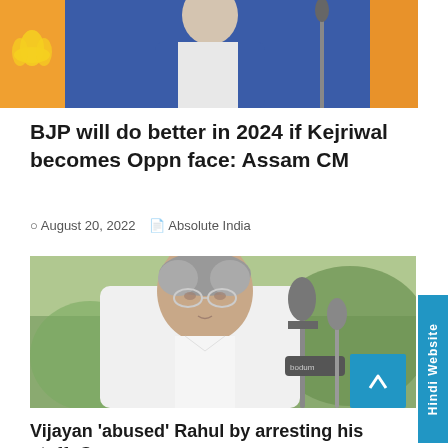[Figure (photo): Top image showing a politician in blue vest with lotus/BJP symbol on orange background]
BJP will do better in 2024 if Kejriwal becomes Oppn face: Assam CM
August 20, 2022   Absolute India
[Figure (photo): Photo of an elderly man in white shirt speaking at a microphone outdoors]
Vijayan 'abused' Rahul by arresting his staff: Congress